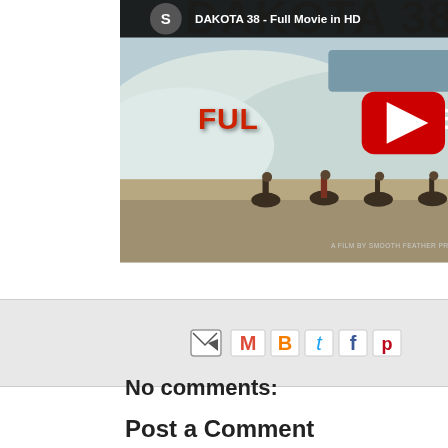[Figure (screenshot): YouTube video embed showing DAKOTA 38 - Full Movie in HD. The thumbnail shows a snowy landscape with riders on horseback and a red YouTube play button overlay. The video title bar at top reads 'DAKOTA 38 - Full Movie in HD' with a dark circular avatar with letter S. Text on thumbnail reads 'FULL MOVIE' in red/white letters and 'A FILM BY SMOOTH FEATHER PRODUCTIONS' at the bottom.]
[Figure (screenshot): Share/email toolbar with small icons: email forward icon, Gmail icon (M), Blogger icon (B), Twitter icon (t), Facebook icon (f), Pinterest icon (p).]
No comments:
Post a Comment